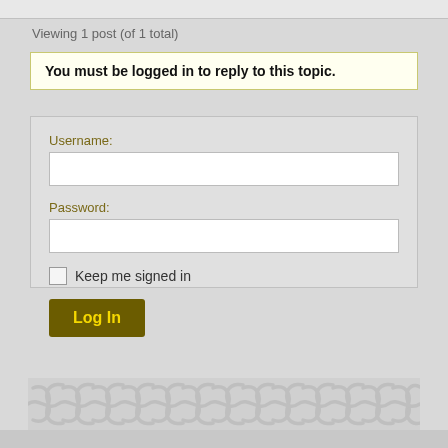Viewing 1 post (of 1 total)
You must be logged in to reply to this topic.
Username:
Password:
Keep me signed in
Log In
[Figure (illustration): Celtic knotwork decorative border pattern in light grey tones at the bottom of the page]